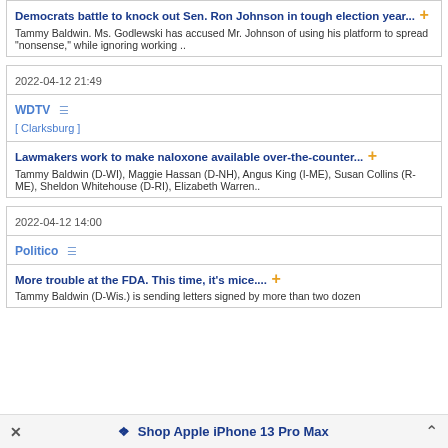Democrats battle to knock out Sen. Ron Johnson in tough election year...
Tammy Baldwin. Ms. Godlewski has accused Mr. Johnson of using his platform to spread 'nonsense,' while ignoring working ..
2022-04-12 21:49
WDTV [ Clarksburg ]
Lawmakers work to make naloxone available over-the-counter...
Tammy Baldwin (D-WI), Maggie Hassan (D-NH), Angus King (I-ME), Susan Collins (R-ME), Sheldon Whitehouse (D-RI), Elizabeth Warren..
2022-04-12 14:00
Politico
More trouble at the FDA. This time, it's mice....
Tammy Baldwin (D-Wis.) is sending letters signed by more than two dozen
Shop Apple iPhone 13 Pro Max